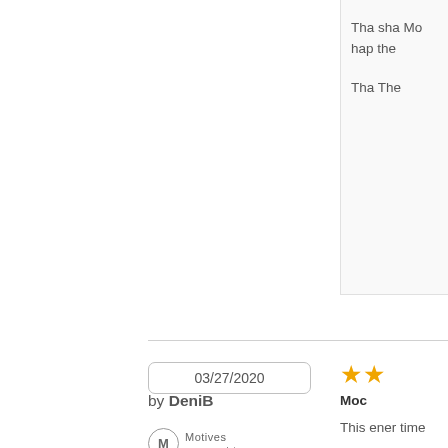Tha sha Mo hap the Tha The
03/27/2020
by DeniB
[Figure (logo): Motives Beauty Advisor badge with M in circle]
Moc
This ener time
Res